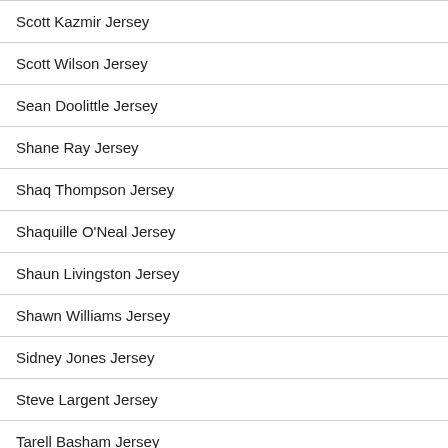Scott Kazmir Jersey
Scott Wilson Jersey
Sean Doolittle Jersey
Shane Ray Jersey
Shaq Thompson Jersey
Shaquille O'Neal Jersey
Shaun Livingston Jersey
Shawn Williams Jersey
Sidney Jones Jersey
Steve Largent Jersey
Tarell Basham Jersey